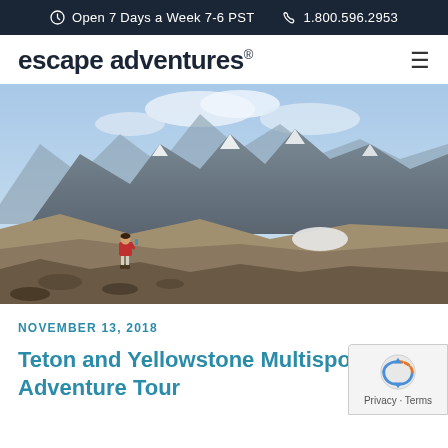Open 7 Days a Week 7-6 PST   1.800.596.2953
escape adventures®
[Figure (photo): A hiker in a red jacket stands on a rocky mountain ridge overlooking dramatic rocky peaks with snow patches and a blue cloudy sky in the Tetons/Yellowstone region.]
NOVEMBER 13, 2018
Teton and Yellowstone Multisport Adventure Tour